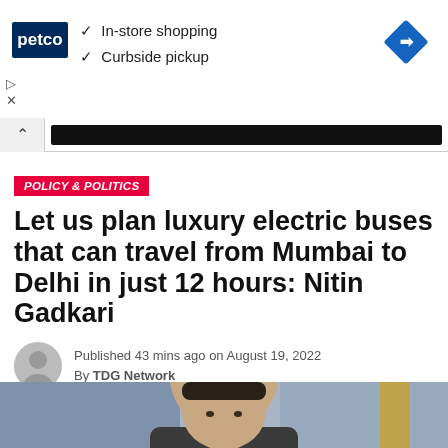[Figure (screenshot): Petco advertisement banner showing logo, checkmarks for In-store shopping and Curbside pickup, and a blue diamond navigation icon]
POLICY & POLITICS
Let us plan luxury electric buses that can travel from Mumbai to Delhi in just 12 hours: Nitin Gadkari
Published 43 mins ago on August 19, 2022
By TDG Network
[Figure (photo): Photo of Nitin Gadkari, partially visible from the shoulders up]